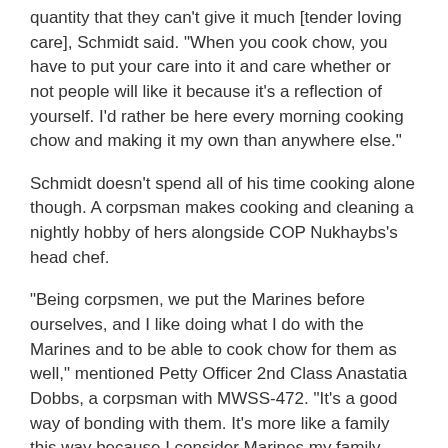quantity that they can't give it much [tender loving care], Schmidt said. "When you cook chow, you have to put your care into it and care whether or not people will like it because it's a reflection of yourself. I'd rather be here every morning cooking chow and making it my own than anywhere else."
Schmidt doesn't spend all of his time cooking alone though. A corpsman makes cooking and cleaning a nightly hobby of hers alongside COP Nukhaybs's head chef.
"Being corpsmen, we put the Marines before ourselves, and I like doing what I do with the Marines and to be able to cook chow for them as well," mentioned Petty Officer 2nd Class Anastatia Dobbs, a corpsman with MWSS-472. "It's a good way of bonding with them. It's more like a family this way because I consider Marines my family away from home."
Schmidt, Dobbs and even the occasional passerby joins in to make every meal the best with the accouterments they have at their disposal. No matter the undefined roads their deployment may take them down, those who rest their heads at COP